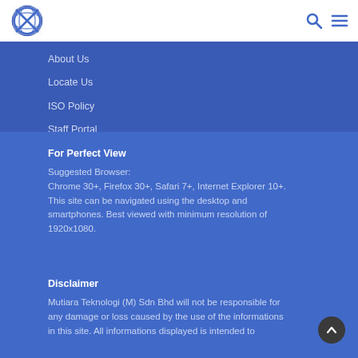[Figure (logo): Mutiara Teknologi logo with stylized globe icon]
About Us
Locate Us
ISO Policy
Staff Portal
Social Media Policy
For Perfect View
Suggested Browser:
Chrome 30+, Firefox 30+, Safari 7+, Internet Explorer 10+.
This site can be navigated using the desktop and smartphones. Best viewed with minimum resolution of 1920x1080.
Disclaimer
Mutiara Teknologi (M) Sdn Bhd will not be responsible for any damage or loss caused by the use of the informations in this site. All informations displayed is intended to